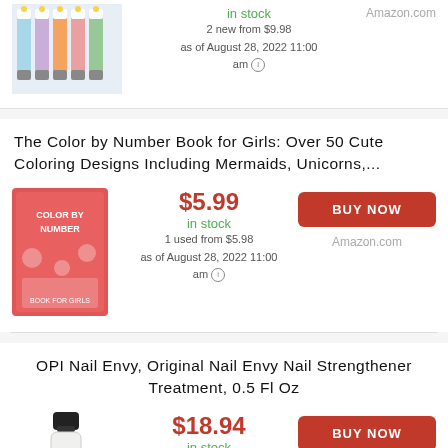[Figure (photo): Product image of colorful hand cream tubes at top of page (partial)]
in stock
2 new from $9.98
as of August 28, 2022 11:00 am
Amazon.com
The Color by Number Book for Girls: Over 50 Cute Coloring Designs Including Mermaids, Unicorns,...
[Figure (photo): Book cover image: Color by Number book for girls, pink/red cover with coloring designs]
$5.99
in stock
1 used from $5.98
as of August 28, 2022 11:00 am
BUY NOW
Amazon.com
OPI Nail Envy, Original Nail Envy Nail Strengthener Treatment, 0.5 Fl Oz
[Figure (photo): OPI nail polish bottle, clear/white nail strengthener product]
$18.94
in stock
as of August 28, 2022 11:00 am
BUY NOW
Amazon.com